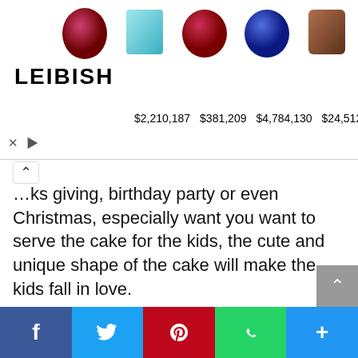[Figure (infographic): Advertisement banner for LEIBISH jewelry showing five gemstones (ruby, aquamarine, ruby, sapphire, brown diamond) with prices $2,210,187 / $381,209 / $4,784,130 / $24,512 / $446,901]
...thanks giving, birthday party or even Christmas, especially want you want to serve the cake for the kids, the cute and unique shape of the cake will make the kids fall in love.
Since bananas go so well to add to the batter, make sure that you pick the fresh and good quality of your bananas. If it possible to you to get the best quality of banana, the organic one would be the great choice. And the most important thing of making the food is that always remember to keep the hygiene, so before making the cake make sure that you and banana and all the ingredients including the stuff you